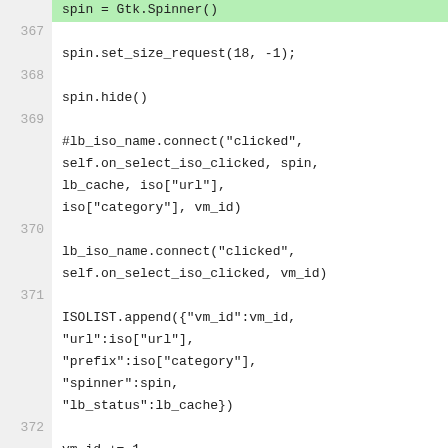[Figure (screenshot): Code diff view showing Python source lines 366-373. Line 366 (partial, green/added): spin = Gtk.Spinner(). Line 367: spin.set_size_request(18, -1);. Line 368: spin.hide(). Line 369: #lb_iso_name.connect("clicked", self.on_select_iso_clicked, spin, lb_cache, iso["url"], iso["category"], vm_id). Line 370: lb_iso_name.connect("clicked", self.on_select_iso_clicked, vm_id). Line 371: ISOLIST.append({"vm_id":vm_id, "url":iso["url"], "prefix":iso["category"], "spinner":spin, "lb_status":lb_cache}). Line 372: vm_id += 1. Line 373 (red/removed): - table.attach(lb_iso_name, 0, 3, 0, 1, gtk.FILL | gtk.EXPAND, gtk.FILL | gtk.EXPAND) (partial).]